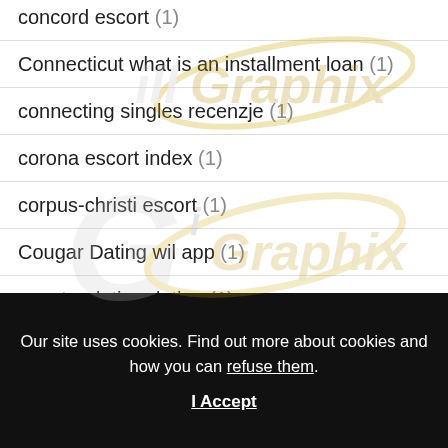concord escort (1)
Connecticut what is an installment loan (1)
connecting singles recenzje (1)
corona escort index (1)
corpus-christi escort (1)
Cougar Dating wil app (1)
country dating dating (1)
Our site uses cookies. Find out more about cookies and how you can refuse them.
I Accept